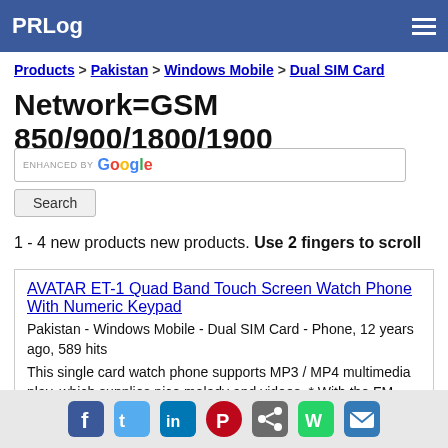PRLog
Products > Pakistan > Windows Mobile > Dual SIM Card
Network=GSM 850/900/1800/1900
1 - 4 new products new products. Use 2 fingers to scroll
AVATAR ET-1 Quad Band Touch Screen Watch Phone With Numeric Keypad
Pakistan - Windows Mobile - Dual SIM Card - Phone, 12 years ago, 589 hits
This single card watch phone supports MP3 / MP4 multimedia play, which supplies nice melody and videos. * With the FM radio, you can keep pace with daily news. * Also it has built-in games, from which you can relax yourself and enjoy funs
Social share icons: Facebook, Twitter, LinkedIn, Pinterest, Share, WhatsApp, Email